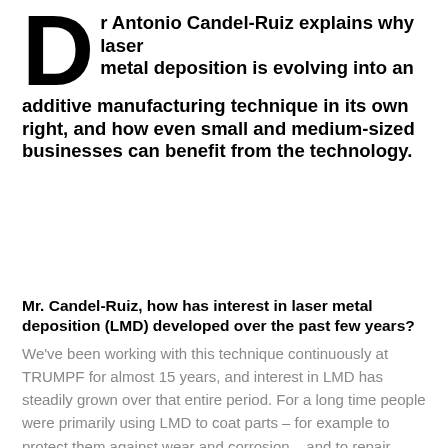Dr Antonio Candel-Ruiz explains why laser metal deposition is evolving into an additive manufacturing technique in its own right, and how even small and medium-sized businesses can benefit from the technology.
Mr. Candel-Ruiz, how has interest in laser metal deposition (LMD) developed over the past few years?
We've been working with this technique continuously at TRUMPF for almost 15 years, and interest in LMD has steadily grown over that entire period. For a long time people were primarily using LMD to coat parts – for example to protect them against wear and corrosion – and to repair damaged metal components. But around two years ago we saw a sudden spike in the number of people inquiring about LMD, including customers from